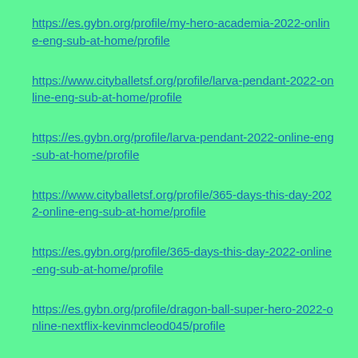https://es.gybn.org/profile/my-hero-academia-2022-online-eng-sub-at-home/profile
https://www.cityballetsf.org/profile/larva-pendant-2022-online-eng-sub-at-home/profile
https://es.gybn.org/profile/larva-pendant-2022-online-eng-sub-at-home/profile
https://www.cityballetsf.org/profile/365-days-this-day-2022-online-eng-sub-at-home/profile
https://es.gybn.org/profile/365-days-this-day-2022-online-eng-sub-at-home/profile
https://es.gybn.org/profile/dragon-ball-super-hero-2022-online-nextflix-kevinmcleod045/profile